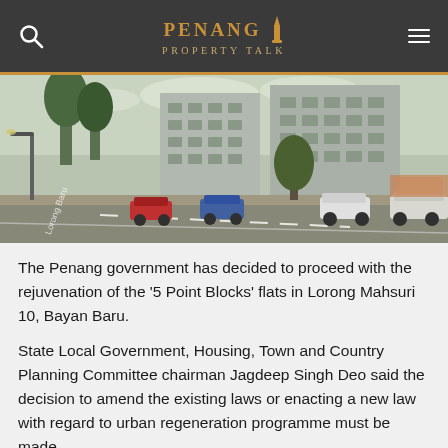Penang Property Talk
[Figure (photo): Street-level view of '5 Point Blocks' flats in Lorong Mahsuri 10, Bayan Baru, Penang. Shows a road with cars parked and driving, multi-storey residential apartment blocks in the background, trees along the street.]
The Penang government has decided to proceed with the rejuvenation of the ‘5 Point Blocks’ flats in Lorong Mahsuri 10, Bayan Baru.
State Local Government, Housing, Town and Country Planning Committee chairman Jagdeep Singh Deo said the decision to amend the existing laws or enacting a new law with regard to urban regeneration programme must be made.